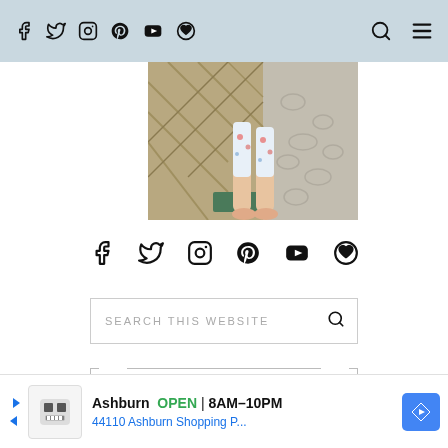Navigation header with social icons (Facebook, Twitter, Instagram, Pinterest, YouTube, Bloglovin) and search and menu icons
[Figure (photo): Partial photo showing a child's legs and feet in floral pants standing on a textured rug next to a wicker basket]
[Figure (infographic): Social media icons row: Facebook, Twitter, Instagram, Pinterest, YouTube, Bloglovin]
SEARCH THIS WEBSITE
As Seen On:
[Figure (screenshot): Ad banner: Ashburn OPEN 8AM-10PM 44110 Ashburn Shopping P... with restaurant logo and navigation arrow]